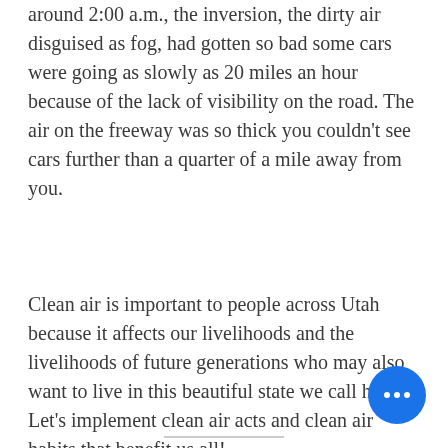around 2:00 a.m., the inversion, the dirty air disguised as fog, had gotten so bad some cars were going as slowly as 20 miles an hour because of the lack of visibility on the road. The air on the freeway was so thick you couldn’t see cars further than a quarter of a mile away from you.
Clean air is important to people across Utah because it affects our livelihoods and the livelihoods of future generations who may also want to live in this beautiful state we call home. Let’s implement clean air acts and clean air habits that benefit us all!